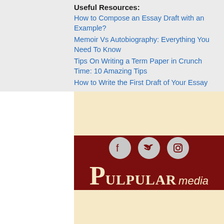Useful Resources:
How to Compose an Essay Draft with an Example?
Memoir Vs Autobiography: Everything You Need To Know
Tips On Writing a Term Paper in Crunch Time: 10 Amazing Tips
How to Write the First Draft of Your Essay
[Figure (logo): Pulpular Media logo on dark red background with social media icons (Facebook, Twitter, Instagram) above]